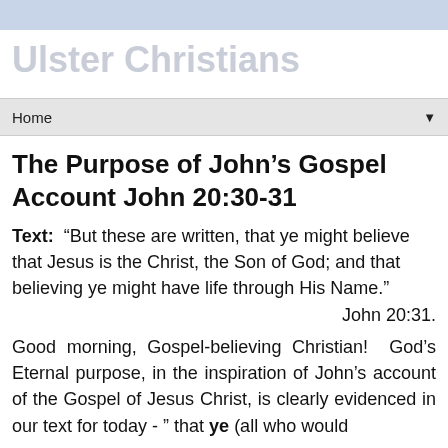Ulster Christians
Home
The Purpose of John's Gospel Account John 20:30-31
Text: “But these are written, that ye might believe that Jesus is the Christ, the Son of God; and that believing ye might have life through His Name.”
John 20:31.
Good morning, Gospel-believing Christian! God’s Eternal purpose, in the inspiration of John’s account of the Gospel of Jesus Christ, is clearly evidenced in our text for today - ” that ye (all who would